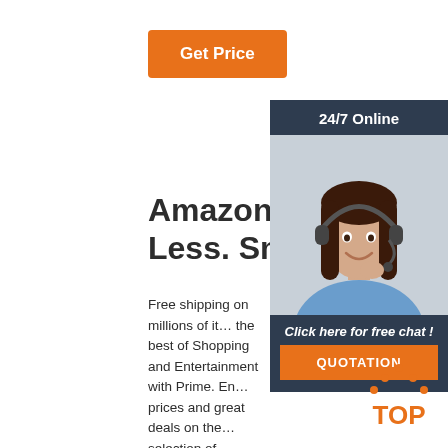[Figure (other): Orange 'Get Price' button]
[Figure (other): 24/7 Online chat widget with woman wearing headset, 'Click here for free chat!' text, and orange QUOTATION button]
Amazon.Com. Spend Less. Smile More.
Free shipping on millions of items. Get the best of Shopping and Entertainment with Prime. Enjoy low prices and great deals on the largest selection of everyday essentials and other products, including fashion, home, beauty, electronics, Alexa Devices, sporting goods, toys, automotive, pets, baby, books, video games, musical instruments, office supplies, and more.
[Figure (logo): Orange TOP arrow logo with dots]